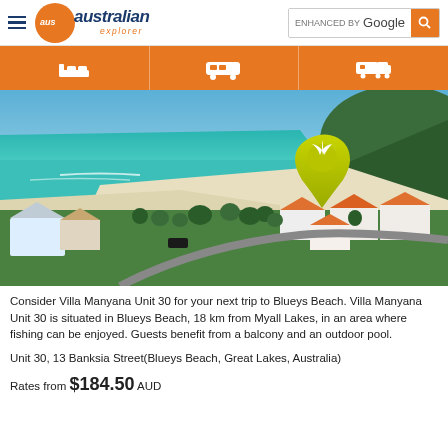australian explorer | ENHANCED BY Google
[Figure (photo): Aerial view of Blueys Beach, showing turquoise water, white sandy beach, coastal houses with orange/red roofs, green hills, and a yellow location pin marker]
Consider Villa Manyana Unit 30 for your next trip to Blueys Beach. Villa Manyana Unit 30 is situated in Blueys Beach, 18 km from Myall Lakes, in an area where fishing can be enjoyed. Guests benefit from a balcony and an outdoor pool.
Unit 30, 13 Banksia Street(Blueys Beach, Great Lakes, Australia)
Rates from $184.50 AUD